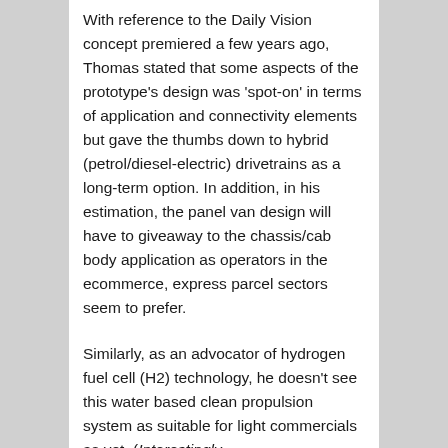With reference to the Daily Vision concept premiered a few years ago, Thomas stated that some aspects of the prototype's design was 'spot-on' in terms of application and connectivity elements but gave the thumbs down to hybrid (petrol/diesel-electric) drivetrains as a long-term option. In addition, in his estimation, the panel van design will have to giveaway to the chassis/cab body application as operators in the ecommerce, express parcel sectors seem to prefer.
Similarly, as an advocator of hydrogen fuel cell (H2) technology, he doesn't see this water based clean propulsion system as suitable for light commercials as yet. (Interestingly,